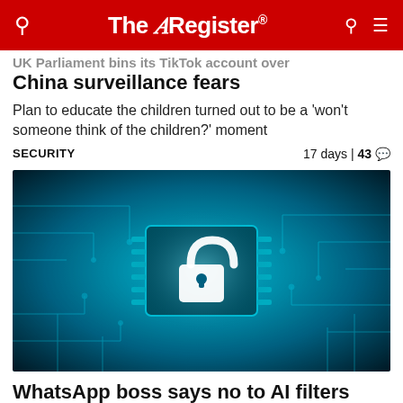The Register
UK Parliament bins its TikTok account over China surveillance fears
Plan to educate the children turned out to be a 'won't someone think of the children?' moment
SECURITY   17 days | 43
[Figure (photo): Circuit board close-up with a glowing padlock icon in the center, teal/blue color tone]
WhatsApp boss says no to AI filters policing